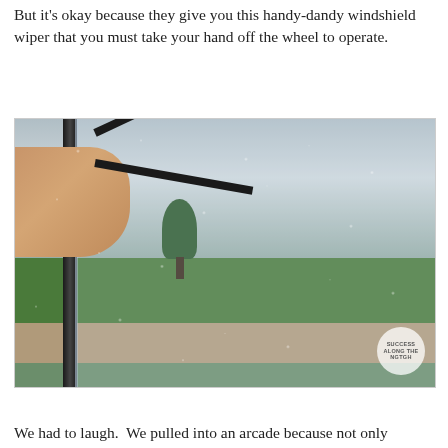But it's okay because they give you this handy-dandy windshield wiper that you must take your hand off the wheel to operate.
[Figure (photo): A person's arm and hand extending out of a vehicle to manually operate a small windshield wiper on a rain-covered clear windshield. The background shows a rainy outdoor scene with grass, trees, and an overcast sky. A watermark circle in the bottom right reads 'SUCCESS ALONG THE NGTGH'.]
We had to laugh.  We pulled into an arcade because not only